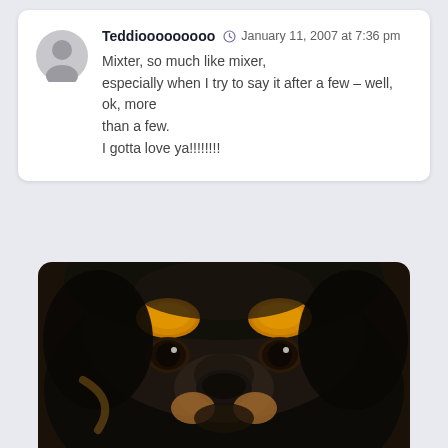Teddiooooooooo  January 11, 2007 at 7:36 pm
Mixter, so much like mixer,
especially when I try to say it after a few – well, ok, more than a few.
I gotta love ya!!!!!!!!
[Figure (photo): Close-up photo of a dark-furred dog (possibly a Rottweiler mix) with golden-orange eyebrow markings and brown eyes, staring directly at the camera against a dark background.]